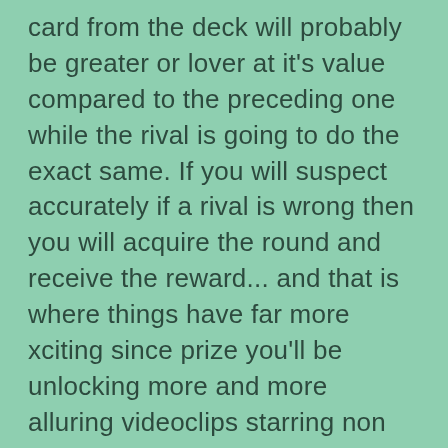card from the deck will probably be greater or lover at it's value compared to the preceding one while the rival is going to do the exact same. If you will suspect accurately if a rival is wrong then you will acquire the round and receive the reward... and that is where things have far more xciting since prize you'll be unlocking more and more alluring videoclips starring non besides mature films blonde star Nicole Aniston! She'll be not only perfoming sexy moves but also getting her off clotehs as you may progress through the game and also because there's absolutely not any time count